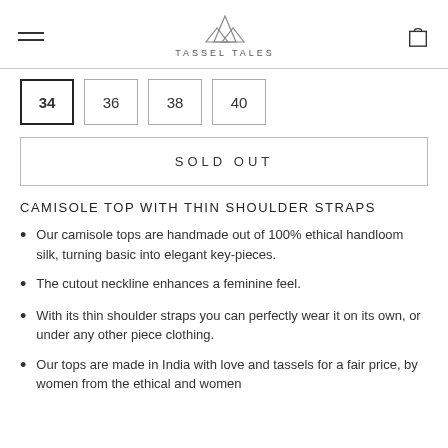TASSEL TALES
34  36  38  40
SOLD OUT
CAMISOLE TOP WITH THIN SHOULDER STRAPS
Our camisole tops are handmade out of 100% ethical handloom silk, turning basic into elegant key-pieces.
The cutout neckline enhances a feminine feel.
With its thin shoulder straps you can perfectly wear it on its own, or under any other piece clothing.
Our tops are made in India with love and tassels for a fair price, by women from the ethical and women